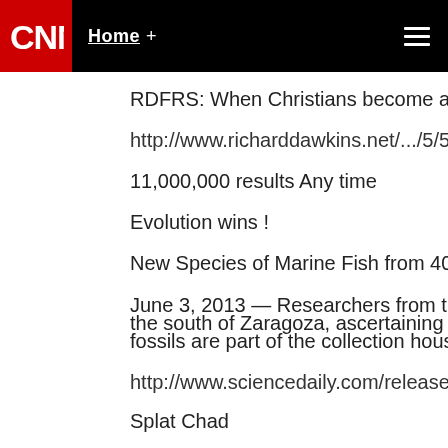CNN — Home +
RDFRS: When Christians become a 'hated minori
http://www.richarddawkins.net/.../5/5/when-chri
11,000,000 results Any time
Evolution wins !
New Species of Marine Fish from 408 Million Yea
June 3, 2013 — Researchers from the University the south of Zaragoza, ascertaining that they bel fossils are part of the collection housed in the Pa
http://www.sciencedaily.com/releases/2013/06/1
Splat Chad
June 3, 2013 at 8:08 pm | Report abuse | Reply